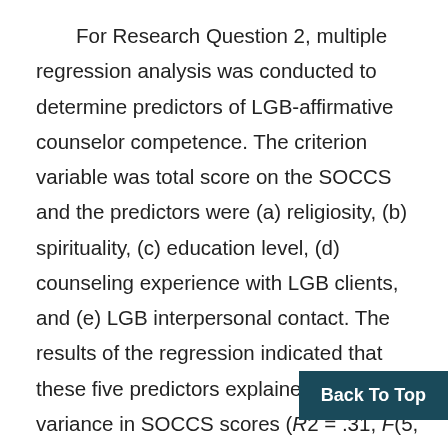For Research Question 2, multiple regression analysis was conducted to determine predictors of LGB-affirmative counselor competence. The criterion variable was total score on the SOCCS and the predictors were (a) religiosity, (b) spirituality, (c) education level, (d) counseling experience with LGB clients, and (e) LGB interpersonal contact. The results of the regression indicated that these five predictors explained 31% of variance in SOCCS scores (R2 = .31, F(5, 391) = 35.31, p < .01). All five variables significantly predicted SOCCS scores: religiosity (β = -.40, p spirituality (β = .13, p < .05), education (β = .23, p